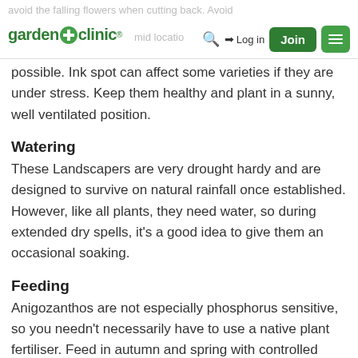garden+clinic® | Log in | Join
avoid the falling flowers when cutting back. Avoid humid location... possible. Ink spot can affect some varieties if they are under stress. Keep them healthy and plant in a sunny, well ventilated position.
Watering
These Landscapers are very drought hardy and are designed to survive on natural rainfall once established. However, like all plants, they need water, so during extended dry spells, it's a good idea to give them an occasional soaking.
Feeding
Anigozanthos are not especially phosphorus sensitive, so you needn't necessarily have to use a native plant fertiliser. Feed in autumn and spring with controlled release fertiliser to promote good plant health and prolific flowering.
Pruning